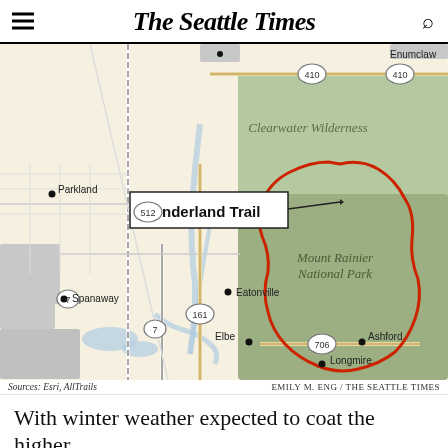The Seattle Times
[Figure (map): Regional map showing the area around Mount Rainier National Park in Washington State. The map shows cities including Parkland, Spanaway, Eatonville, Elbe, Ashford, and Longmire. Roads labeled include 512, 410, 7, 161, and 706. The Clearwater Wilderness area is shown in green to the northeast. Mount Rainier National Park is shown in a darker green with the Wonderland Trail outlined in red/orange around the perimeter of the park. A callout label reads 'Wonderland Trail' pointing to the trail outline.]
Sources: Esri, AllTrails    EMILY M. ENG / THE SEATTLE TIMES
With winter weather expected to coat the higher